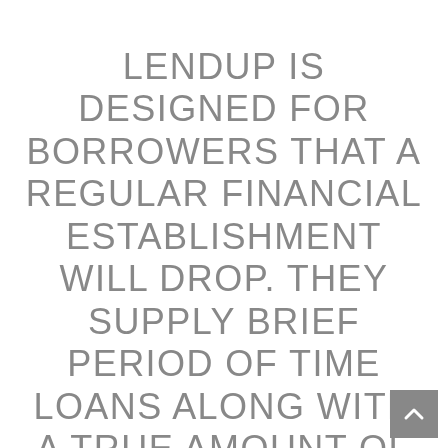LendUp is designed for borrowers that a regular financial establishment will drop. They supply brief period of time loans along with a true amount of charge card alternatives to purchasers with woeful credit ratings. These loans in many cases are high-curiosity, therefore the debtor is meant to